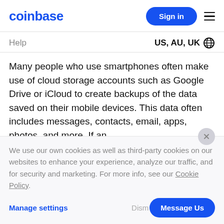coinbase  Sign in
Help  US, AU, UK
Many people who use smartphones often make use of cloud storage accounts such as Google Drive or iCloud to create backups of the data saved on their mobile devices. This data often includes messages, contacts, email, apps, photos, and more. If an
We use our own cookies as well as third-party cookies on our websites to enhance your experience, analyze our traffic, and for security and marketing. For more info, see our Cookie Policy.
Manage settings  Dismiss  Message Us